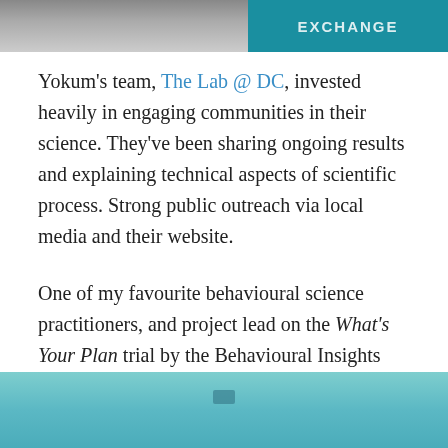[Figure (photo): Top portion of a photo showing a person speaking at an event with a teal 'EXCHANGE' sign/banner visible in the upper right.]
Yokum's team, The Lab @ DC, invested heavily in engaging communities in their science. They've been sharing ongoing results and explaining technical aspects of scientific process. Strong public outreach via local media and their website.
One of my favourite behavioural science practitioners, and project lead on the What's Your Plan trial by the Behavioural Insights Unit, Eva Koromilas (pictured below) was asked by the panel to describe how the trial worked with Aboriginal client and community support officers and domestic and family violence reoffenders.
[Figure (photo): Bottom portion of a photo showing a teal/turquoise surface, likely a table or presentation area, with a small dark rectangular object visible.]